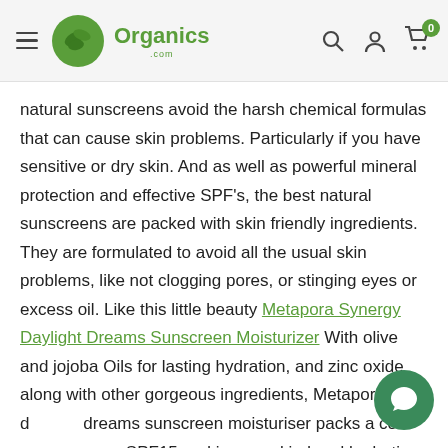Organics.com
natural sunscreens avoid the harsh chemical formulas that can cause skin problems. Particularly if you have sensitive or dry skin. And as well as powerful mineral protection and effective SPF’s, the best natural sunscreens are packed with skin friendly ingredients. They are formulated to avoid all the usual skin problems, like not clogging pores, or stinging eyes or excess oil. Like this little beauty Metapora Synergy Daylight Dreams Sunscreen Moisturizer With olive and jojoba Oils for lasting hydration, and zinc oxide along with other gorgeous ingredients, Metapora’s d... dreams sunscreen moisturiser packs a cool eve... use SPF15 and is super kind and hydrating to skin. So